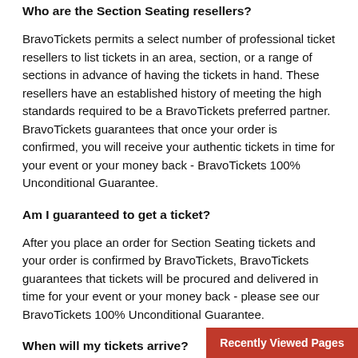Who are the Section Seating resellers?
BravoTickets permits a select number of professional ticket resellers to list tickets in an area, section, or a range of sections in advance of having the tickets in hand. These resellers have an established history of meeting the high standards required to be a BravoTickets preferred partner. BravoTickets guarantees that once your order is confirmed, you will receive your authentic tickets in time for your event or your money back - BravoTickets 100% Unconditional Guarantee.
Am I guaranteed to get a ticket?
After you place an order for Section Seating tickets and your order is confirmed by BravoTickets, BravoTickets guarantees that tickets will be procured and delivered in time for your event or your money back - please see our BravoTickets 100% Unconditional Guarantee.
When will my tickets arrive?
Once tickets have been procured in the area or sections noted in the Section Seating listing and your order is confirmed by BravoTickets, we will send you a Delivery Update email to
Recently Viewed Pages